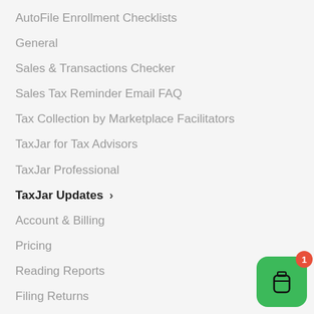AutoFile Enrollment Checklists
General
Sales & Transactions Checker
Sales Tax Reminder Email FAQ
Tax Collection by Marketplace Facilitators
TaxJar for Tax Advisors
TaxJar Professional
TaxJar Updates >
Account & Billing
Pricing
Reading Reports
Filing Returns
AutoFile
TaxJar API
[Figure (illustration): Green rounded square chat button with a jar/bottle icon and a red notification badge showing the number 1]